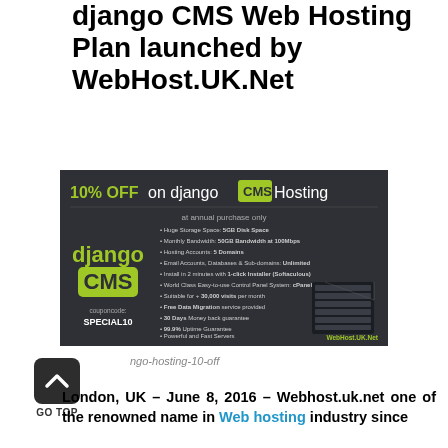django CMS Web Hosting Plan launched by WebHost.UK.Net
[Figure (infographic): 10% OFF on django CMS Hosting advertisement banner. Dark background with green accents. Features django CMS logo, coupon code SPECIAL10, list of hosting features, and WebHost.UK.Net branding.]
ngo-hosting-10-off
[Figure (other): GO TOP button icon - dark rounded square with white chevron up arrow]
GO TOP
London, UK – June 8, 2016 – Webhost.uk.net one of the renowned name in Web hosting industry since